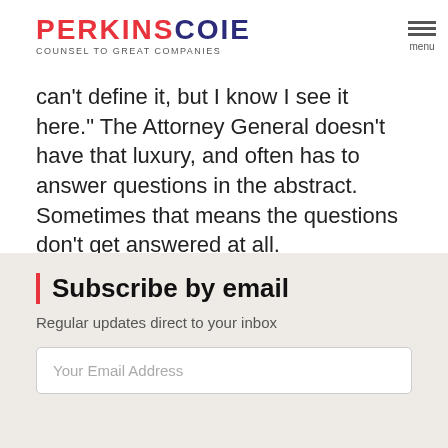Perkins Coie — COUNSEL TO GREAT COMPANIES | menu
can't define it, but I know I see it here." The Attorney General doesn't have that luxury, and often has to answer questions in the abstract.  Sometimes that means the questions don't get answered at all.
Tags: Annexation, Cortese-Knox-Hertzberg, LAFCO
[Figure (infographic): Social sharing icons: print (blue), email (tan/gold), Twitter (blue bird), Facebook (dark blue f), LinkedIn (blue in)]
Subscribe by email
Regular updates direct to your inbox
Your Email Address